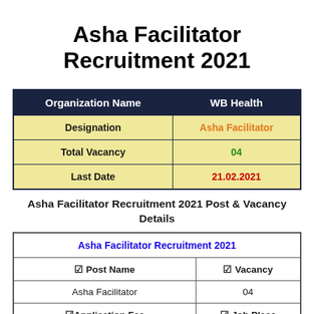Asha Facilitator Recruitment 2021
| Organization Name | WB Health |
| --- | --- |
| Designation | Asha Facilitator |
| Total Vacancy | 04 |
| Last Date | 21.02.2021 |
Asha Facilitator Recruitment 2021 Post & Vacancy Details
| Asha Facilitator Recruitment 2021 |
| --- |
| ☑ Post Name | ☑ Vacancy |
| Asha Facilitator | 04 |
| ☑Application Fee | ☑ Job Place |
| Follow Official Notification | WB |